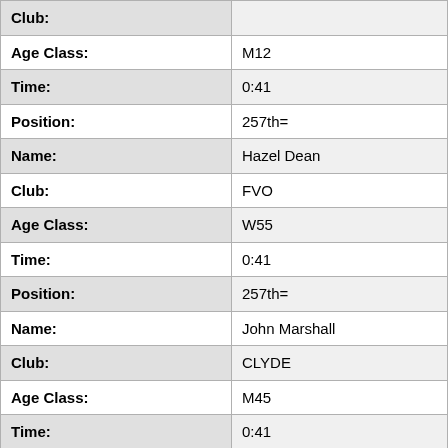| Field | Value |
| --- | --- |
| Club: |  |
| Age Class: | M12 |
| Time: | 0:41 |
| Position: | 257th= |
| Name: | Hazel Dean |
| Club: | FVO |
| Age Class: | W55 |
| Time: | 0:41 |
| Position: | 257th= |
| Name: | John Marshall |
| Club: | CLYDE |
| Age Class: | M45 |
| Time: | 0:41 |
| Position: | 257th= |
| Name: | Peter Murphy |
| Club: | DEE |
| Age Class: | M40 |
| Time: | 0:41 |
| Position: | 257th= |
| Name: | Philip Harvey |
| Club: | WIM |
| Age Class: | M45 |
| Time: | 0:41 |